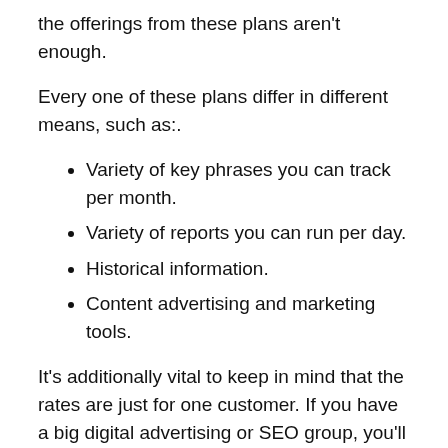the offerings from these plans aren't enough.
Every one of these plans differ in different means, such as:.
Variety of key phrases you can track per month.
Variety of reports you can run per day.
Historical information.
Content advertising and marketing tools.
It's additionally vital to keep in mind that the rates are just for one customer. If you have a big digital advertising or SEO group, you'll likely require even more users to access the program.